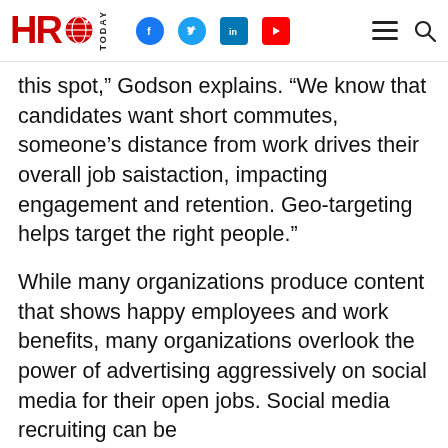HRO Today
this spot,” Godson explains. “We know that candidates want short commutes, someone’s distance from work drives their overall job saistaction, impacting engagement and retention. Geo-targeting helps target the right people.”
While many organizations produce content that shows happy employees and work benefits, many organizations overlook the power of advertising aggressively on social media for their open jobs. Social media recruiting can be